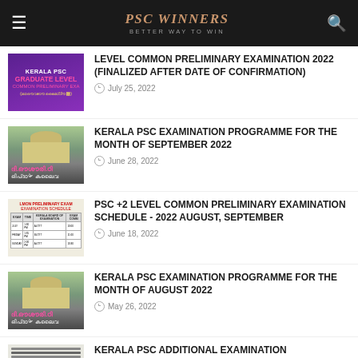PSC WINNERS — BETTER WAY TO WIN
LEVEL COMMON PRELIMINARY EXAMINATION 2022 (FINALIZED AFTER DATE OF CONFIRMATION) — July 25, 2022
KERALA PSC EXAMINATION PROGRAMME FOR THE MONTH OF SEPTEMBER 2022 — June 28, 2022
PSC +2 LEVEL COMMON PRELIMINARY EXAMINATION SCHEDULE - 2022 AUGUST, SEPTEMBER — June 18, 2022
KERALA PSC EXAMINATION PROGRAMME FOR THE MONTH OF AUGUST 2022 — May 26, 2022
KERALA PSC ADDITIONAL EXAMINATION PROGRAMME FOR GRADUATE LEVEL COMMON PRELIMINARY EXAMINATION 2022